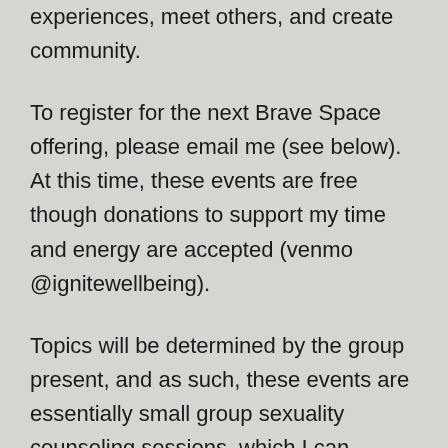experiences, meet others, and create community.
To register for the next Brave Space offering, please email me (see below).  At this time, these events are free though donations to support my time and energy are accepted (venmo @ignitewellbeing).
Topics will be determined by the group present, and as such, these events are essentially small group sexuality counseling sessions, which I can support secondary to my education, professional experience, and lived experience.
This offering was formally named “Safe Space”. However, as I gain experience in facilitating